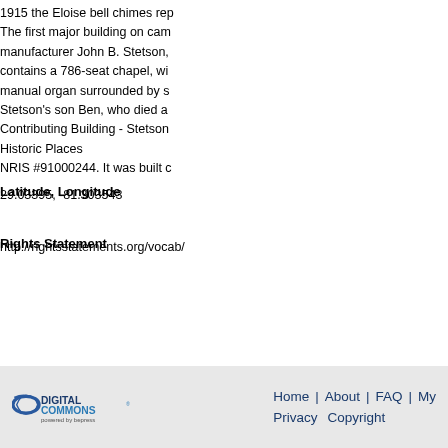1915 the Eloise bell chimes rep... The first major building on cam... manufacturer John B. Stetson,... contains a 786-seat chapel, wi... manual organ surrounded by s... Stetson's son Ben, who died a... Contributing Building - Stetson... Historic Places NRIS #91000244. It was built c...
Latitude, Longitude
29.03395, -81.303543
Rights Statement
http://rightsstatements.org/vocab/
Home | About | FAQ | My... Privacy Copyright